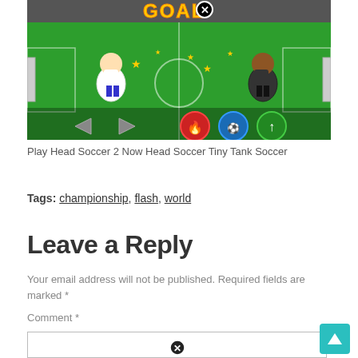[Figure (screenshot): Head Soccer 2 game screenshot showing a soccer field with cartoon players, 'GOAL' text at top, navigation arrows and ability buttons (fire, soccer, up arrow) at bottom]
Play Head Soccer 2 Now Head Soccer Tiny Tank Soccer
Tags: championship, flash, world
Leave a Reply
Your email address will not be published. Required fields are marked *
Comment *